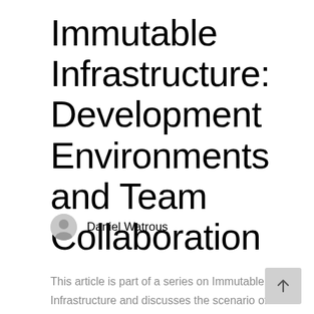Immutable Infrastructure: Development Environments and Team Collaboration
Daniel Watrous
This article is part of a series on Immutable Infrastructure and discusses the scenario of Development Environments and Team Collaboration. It may be valuable to review